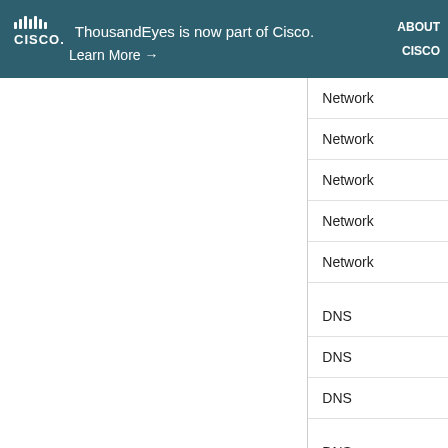ThousandEyes is now part of Cisco. Learn More → ABOUT CISCO
Network
Network
Network
Network
Network
DNS
DNS
DNS
DNS+